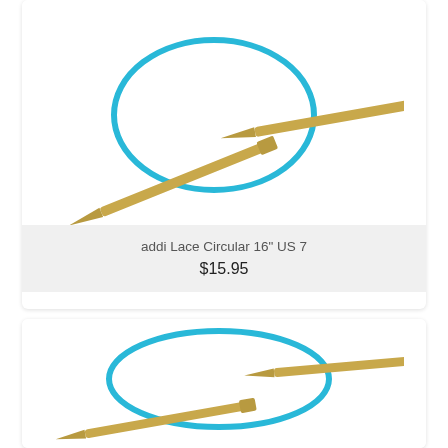[Figure (photo): addi Lace Circular knitting needle with gold/brass-colored needle tips and a bright blue flexible cord, coiled in a circle. The needles are elongated and tapered.]
addi Lace Circular 16" US 7
$15.95
[Figure (photo): Another addi Lace Circular knitting needle with gold/brass-colored tips and a bright blue flexible cord, shown partially visible at the bottom of the page, similar style to the one above.]